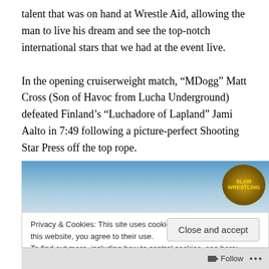talent that was on hand at Wrestle Aid, allowing the man to live his dream and see the top-notch international stars that we had at the event live.

In the opening cruiserweight match, “MDogg” Matt Cross (Son of Havoc from Lucha Underground) defeated Finland’s “Luchadore of Lapland” Jami Aalto in 7:49 following a picture-perfect Shooting Star Press off the top rope.
[Figure (other): Blue gradient banner with a gold circular wrestling logo/badge (SLAM) in the top right corner]
Privacy & Cookies: This site uses cookies. By continuing to use this website, you agree to their use.
To find out more, including how to control cookies, see here: Cookie Policy
Close and accept
Follow ...